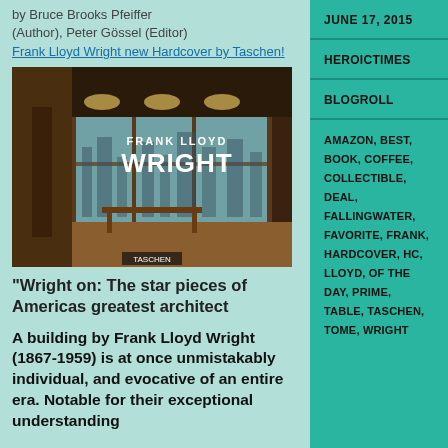by Bruce Brooks Pfeiffer (Author), Peter Gössel (Editor)
Frank Lloyd Wright new Hardcover by Taschen!
[Figure (photo): Cover of Frank Lloyd Wright book by Taschen, showing interior of a Frank Lloyd Wright building with large windows and wooden furniture]
“Wright on: The star pieces of Americas greatest architect
A building by Frank Lloyd Wright (1867-1959) is at once unmistakably individual, and evocative of an entire era. Notable for their exceptional understanding
JUNE 17, 2015
HEROICTIMES
BLOGROLL
AMAZON, BEST, BOOK, COFFEE, COLLECTIBLE, DEAL, FALLINGWATER, FAVORITE, FRANK, HARDCOVER, HC, LLOYD, OF THE DAY, PRIME, TABLE, TASCHEN, TOME, WRIGHT